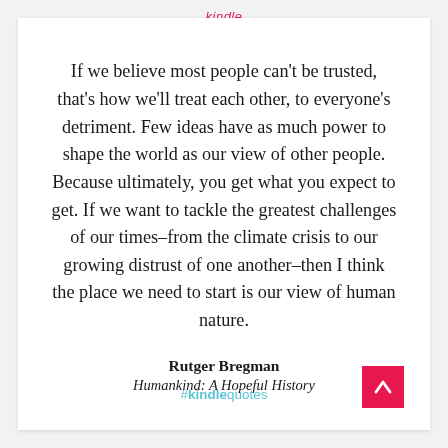If we believe most people can't be trusted, that's how we'll treat each other, to everyone's detriment. Few ideas have as much power to shape the world as our view of other people. Because ultimately, you get what you expect to get. If we want to tackle the greatest challenges of our times–from the climate crisis to our growing distrust of one another–then I think the place we need to start is our view of human nature.
Rutger Bregman
Humankind: A Hopeful History
#kindlequotes